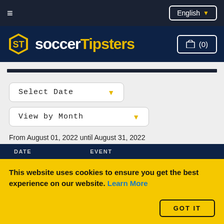≡  English ▾
[Figure (logo): SoccerTipsters logo with hexagon icon and cart button showing (0)]
Select Date
View by Month
From August 01, 2022 until August 31, 2022
| DATE | EVENT |
| --- | --- |
This website uses cookies to ensure you get the best experience on our website. Learn More
GOT IT